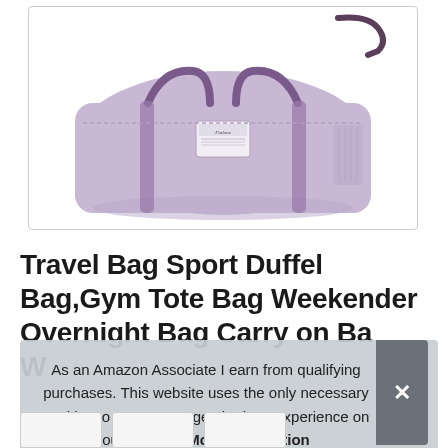[Figure (photo): A lavender/light purple travel duffel bag with satin-look straps and a small white label patch on the front, shown on a white background with a rounded rectangle border.]
Travel Bag Sport Duffel Bag,Gym Tote Bag Weekender Overnight Bag Carry on Ba... W...
As an Amazon Associate I earn from qualifying purchases. This website uses the only necessary cookies to ensure you get the best experience on our website. More information